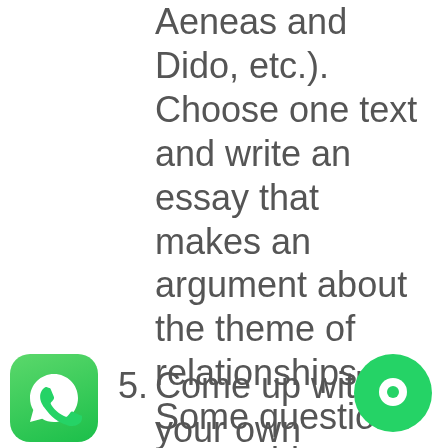Aeneas and Dido, etc.). Choose one text and write an essay that makes an argument about the theme of relationships. Some questions to consider: What defines a “good” relationship? How does the end of a relationship affect individuals? Do relationships make us better people? Do we feel a duty to those we are in a relationship with or do we feel others have a duty to us?
5. Come up with your own prompt want you to want to write this paper, so if you are not inspired by